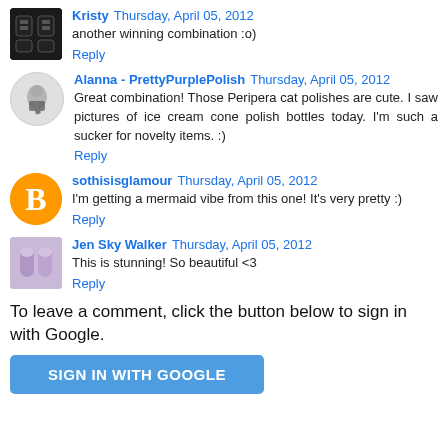Kristy  Thursday, April 05, 2012
another winning combination :o)
Reply
Alanna - PrettyPurplePolish  Thursday, April 05, 2012
Great combination! Those Peripera cat polishes are cute. I saw pictures of ice cream cone polish bottles today. I'm such a sucker for novelty items. :)
Reply
sothisisglamour  Thursday, April 05, 2012
I'm getting a mermaid vibe from this one! It's very pretty :)
Reply
Jen Sky Walker  Thursday, April 05, 2012
This is stunning! So beautiful <3
Reply
To leave a comment, click the button below to sign in with Google.
SIGN IN WITH GOOGLE